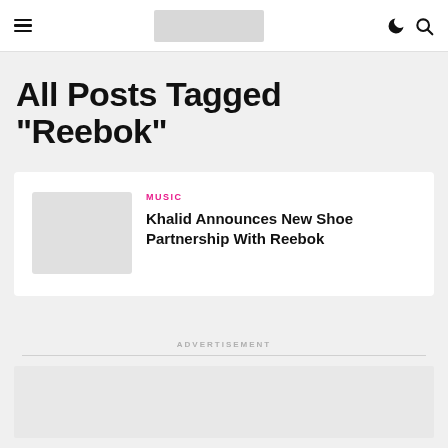[hamburger menu] [logo] [moon icon] [search icon]
All Posts Tagged "Reebok"
MUSIC
Khalid Announces New Shoe Partnership With Reebok
ADVERTISEMENT